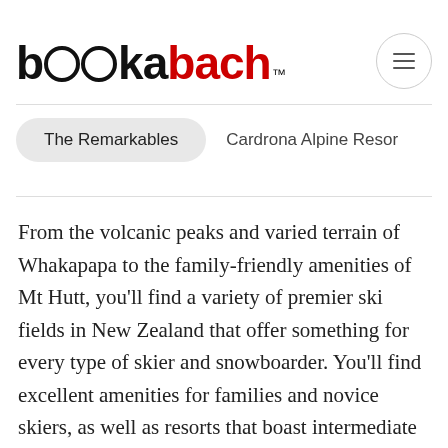bookabach™
The Remarkables    Cardrona Alpine Resor
From the volcanic peaks and varied terrain of Whakapapa to the family-friendly amenities of Mt Hutt, you'll find a variety of premier ski fields in New Zealand that offer something for every type of skier and snowboarder. You'll find excellent amenities for families and novice skiers, as well as resorts that boast intermediate terrain and challenging off-piste areas. Freestylers will love the abundance of terrain parks offered at New Zealand's top resorts. Whether you want a family ski trip with the kids